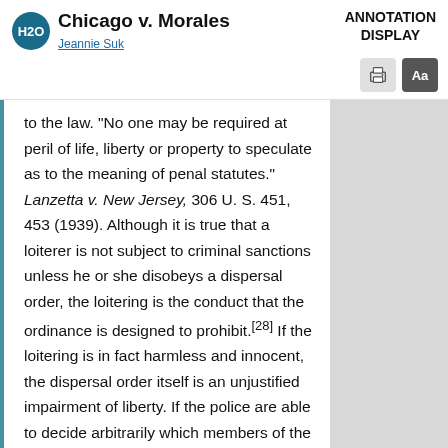Chicago v. Morales — Jeannie Suk — ANNOTATION DISPLAY
to the law. "No one may be required at peril of life, liberty or property to speculate as to the meaning of penal statutes." Lanzetta v. New Jersey, 306 U. S. 451, 453 (1939). Although it is true that a loiterer is not subject to criminal sanctions unless he or she disobeys a dispersal order, the loitering is the conduct that the ordinance is designed to prohibit.[28] If the loitering is in fact harmless and innocent, the dispersal order itself is an unjustified impairment of liberty. If the police are able to decide arbitrarily which members of the